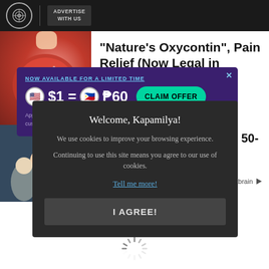ADVERTISE WITH US
"Nature's Oxycontin", Pain Relief (Now Legal in Ashburn )
[Figure (screenshot): Advertisement banner: NOW AVAILABLE FOR A LIMITED TIME $1 = ₱60 CLAIM OFFER. Applies to first $500 spent in 45 days for new customers. Pomelo logo.]
[Gallery] See Where The 50-⬜s Today
[Figure (screenshot): Cookie consent modal: Welcome, Kapamilya! We use cookies to improve your browsing experience. Continuing to use this site means you agree to our use of cookies. Tell me more! I AGREE!]
[Figure (other): Loading spinner icon at bottom of page]